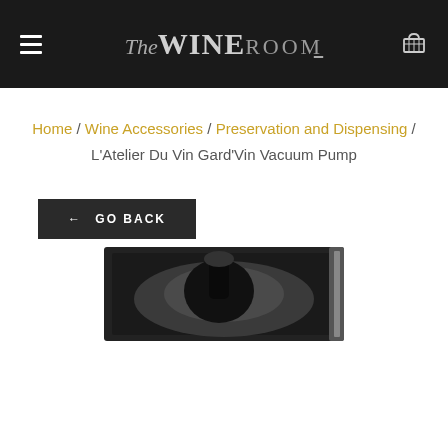THE WINE ROOM
Home / Wine Accessories / Preservation and Dispensing / L'Atelier Du Vin Gard'Vin Vacuum Pump
← GO BACK
[Figure (photo): Product photo of L'Atelier Du Vin Gard'Vin Vacuum Pump in dark packaging, partially visible at bottom of page]